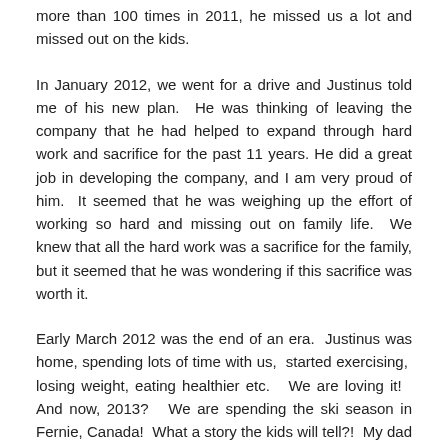more than 100 times in 2011, he missed us a lot and missed out on the kids.
In January 2012, we went for a drive and Justinus told me of his new plan.  He was thinking of leaving the company that he had helped to expand through hard work and sacrifice for the past 11 years. He did a great job in developing the company, and I am very proud of him.  It seemed that he was weighing up the effort of working so hard and missing out on family life.  We knew that all the hard work was a sacrifice for the family, but it seemed that he was wondering if this sacrifice was worth it.
Early March 2012 was the end of an era.  Justinus was home, spending lots of time with us,  started exercising,  losing weight, eating healthier etc.   We are loving it!   And now, 2013?   We are spending the ski season in Fernie, Canada!  What a story the kids will tell?!  My dad taught me how to ski when I was 2 and 4 respectively!   He is part of my life and